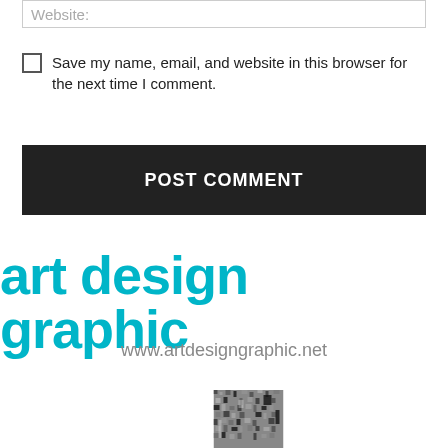Website:
Save my name, email, and website in this browser for the next time I comment.
POST COMMENT
[Figure (logo): art design graphic logo in bold cyan/teal text]
www.artdesigngraphic.net
[Figure (photo): Partial image of a textured grainy black and white photograph, cropped at bottom of page]